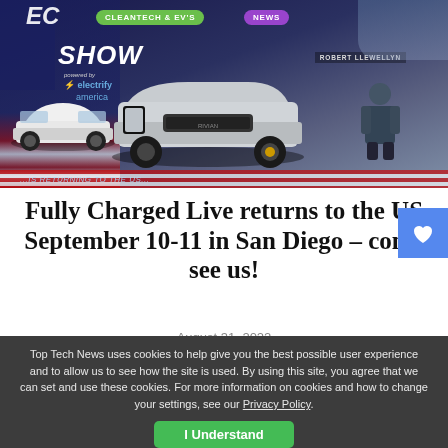[Figure (photo): Hero image showing EV show banner with Rivian truck, Tesla Model 3, host Robert Llewellyn, Electrify America sponsorship logo, and US flag motif. Tags: CLEANTECH & EV'S, NEWS.]
Fully Charged Live returns to the US September 10-11 in San Diego – come see us!
August 31, 2022
Top Tech News uses cookies to help give you the best possible user experience and to allow us to see how the site is used. By using this site, you agree that we can set and use these cookies. For more information on cookies and how to change your settings, see our Privacy Policy.
I Understand